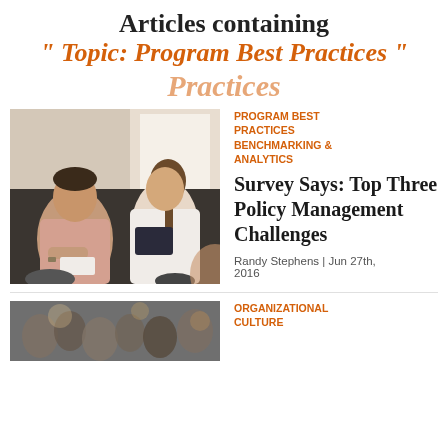Articles containing
" Topic: Program Best Practices "
Practices
[Figure (photo): Two people sitting and discussing, one holding a tablet/folder, in a bright office or meeting setting.]
PROGRAM BEST PRACTICES BENCHMARKING & ANALYTICS
Survey Says: Top Three Policy Management Challenges
Randy Stephens | Jun 27th, 2016
[Figure (photo): A crowd of people, blurred/bokeh background, partial image at bottom of page.]
ORGANIZATIONAL CULTURE